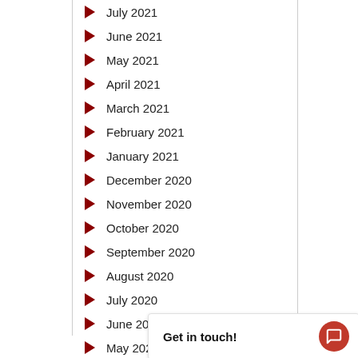July 2021
June 2021
May 2021
April 2021
March 2021
February 2021
January 2021
December 2020
November 2020
October 2020
September 2020
August 2020
July 2020
June 2020
May 202...
Get in touch!